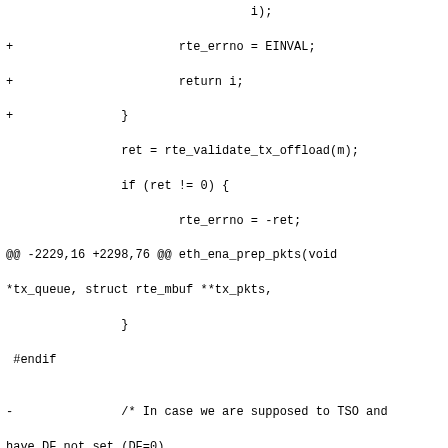diff hunk showing changes to eth_ena_prep_pkts function with additions of validation logic, error handling, and offload checking code